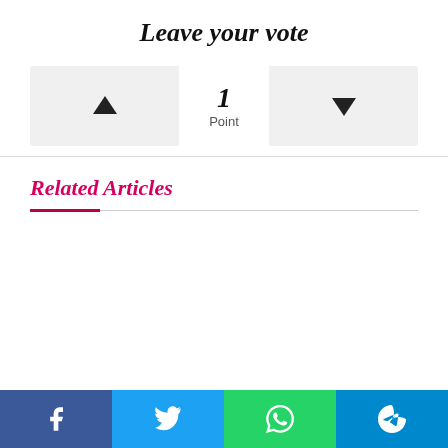Leave your vote
▲   1 Point   ▼
Related Articles
Share bar: Facebook, Twitter, WhatsApp, Telegram